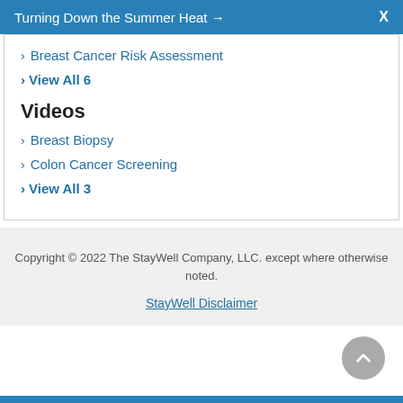Turning Down the Summer Heat →  X
› Breast Cancer Risk Assessment
› View All 6
Videos
› Breast Biopsy
› Colon Cancer Screening
› View All 3
Copyright © 2022 The StayWell Company, LLC. except where otherwise noted.
StayWell Disclaimer